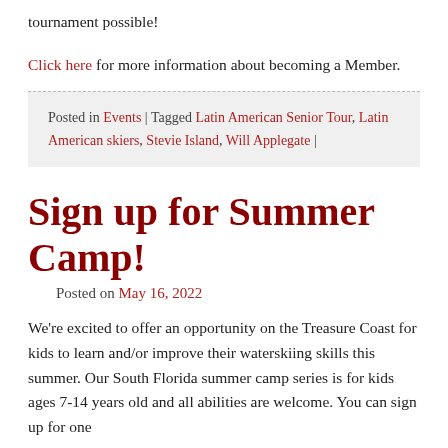tournament possible!
Click here for more information about becoming a Member.
Posted in Events | Tagged Latin American Senior Tour, Latin American skiers, Stevie Island, Will Applegate |
Sign up for Summer Camp!
Posted on May 16, 2022
We're excited to offer an opportunity on the Treasure Coast for kids to learn and/or improve their waterskiing skills this summer. Our South Florida summer camp series is for kids ages 7-14 years old and all abilities are welcome. You can sign up for one